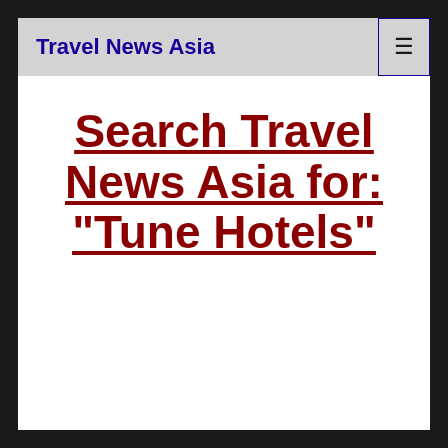Travel News Asia
Search Travel News Asia for: "Tune Hotels"